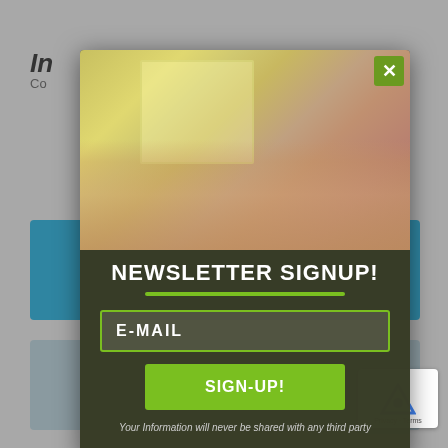[Figure (screenshot): Background website page (greyed out) showing partial logo top-left with 'IN' and 'CO' text, hamburger menu top-right, blue content bar and grey content area in the background.]
[Figure (photo): Photo of a hand holding house keys with a house keychain, shown with a yellow-green wall and blurred background, used as the header image of the newsletter signup modal.]
NEWSLETTER SIGNUP!
E-MAIL
SIGN-UP!
Your Information will never be shared with any third party